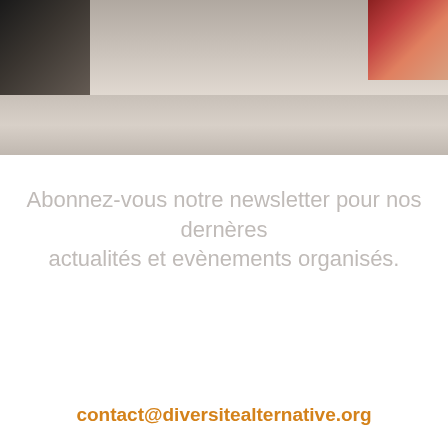[Figure (photo): Top portion of page showing a blurred/partial photo of people at a table or meeting setting, with dark shapes on the left and colorful objects on the right against a grey surface.]
Abonnez-vous notre newsletter pour nos dernères actualités et evènements organisés.
[Figure (other): Email subscription input field with rounded border, placeholder text 'Email Address' and an orange circular submit arrow button on the right.]
contact@diversitealternative.org